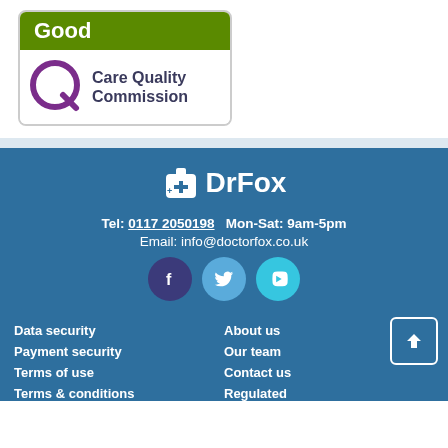[Figure (logo): CQC Good rating badge with Care Quality Commission logo]
[Figure (logo): Dr Fox pharmacy logo with medical bag icon and brand name]
Tel: 0117 2050198   Mon-Sat: 9am-5pm
Email: info@doctorfox.co.uk
[Figure (other): Social media icons: Facebook, Twitter, Vimeo]
Data security
Payment security
Terms of use
Terms & conditions
About us
Our team
Contact us
Regulated